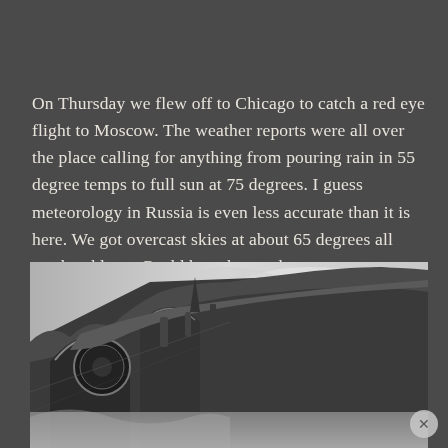On Thursday we flew off to Chicago to catch a red eye flight to Moscow. The weather reports were all over the place calling for anything from pouring rain in 55 degree temps to full sun at 75 degrees. I guess meteorology in Russia is even less accurate than it is here. We got overcast skies at about 65 degrees all weekend long. Could have been a lot worse.
[Figure (photo): Black and white photograph of an ornate classical building facade shot from a low angle, showing architectural details including arched windows, decorative stonework, and a circular window, against an overcast sky.]